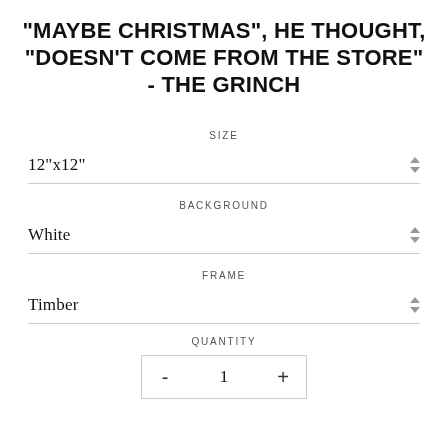"MAYBE CHRISTMAS", HE THOUGHT, "DOESN'T COME FROM THE STORE" - THE GRINCH
SIZE
12"x12"
BACKGROUND
White
FRAME
Timber
QUANTITY
- 1 +